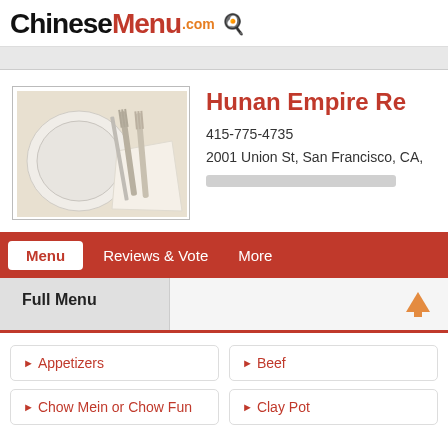ChineseMenu.com
Hunan Empire Re...
415-775-4735
2001 Union St, San Francisco, CA,
[Figure (photo): Table setting with plate, two silver forks and white napkin on light background]
Menu | Reviews & Vote | More
Full Menu
Appetizers
Beef
Chow Mein or Chow Fun
Clay Pot